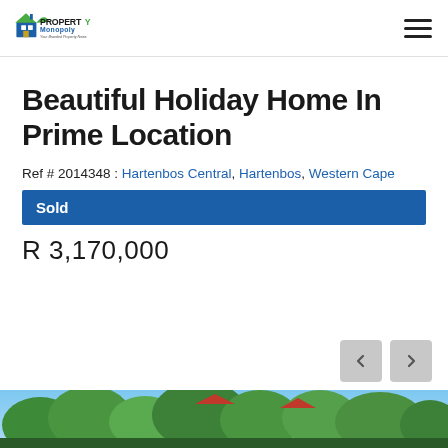[Figure (logo): Property Monopoly logo with house icon and tagline 'Your Branded Property News']
Beautiful Holiday Home In Prime Location
Ref # 2014348 : Hartenbos Central, Hartenbos, Western Cape
Sold
R 3,170,000
[Figure (photo): Aerial or exterior photo of holiday home with green trees and roof visible at bottom of page]